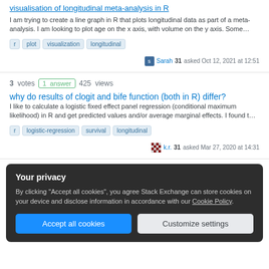visualisation of longitudinal meta-analysis in R
I am trying to create a line graph in R that plots longitudinal data as part of a meta-analysis. I am looking to plot age on the x axis, with volume on the y axis. Some…
r
plot
visualization
longitudinal
Sarah 31 asked Oct 12, 2021 at 12:51
3  votes  1 answer  425  views
why do results of clogit and bife function (both in R) differ?
I like to calculate a logistic fixed effect panel regression (conditional maximum likelihood) in R and get predicted values and/or average marginal effects. I found t…
r
logistic-regression
survival
longitudinal
k.r. 31 asked Mar 27, 2020 at 14:31
Your privacy
By clicking "Accept all cookies", you agree Stack Exchange can store cookies on your device and disclose information in accordance with our Cookie Policy.